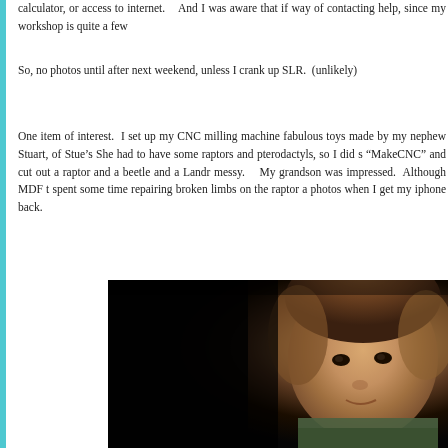calculator, or access to internet.    And I was aware that if way of contacting help, since my workshop is quite a few
So, no photos until after next weekend, unless I crank up SLR.  (unlikely)
One item of interest.  I set up my CNC milling machine fabulous toys made by my nephew Stuart, of Stue's She had to have some raptors and pterodactyls, so I did s “MakeCNC” and cut out a raptor and a beetle and a Landr messy.    My grandson was impressed.  Although MDF t spent some time repairing broken limbs on the raptor a photos when I get my iphone back.
[Figure (photo): A young child (toddler) with light brown hair looking at the camera, photographed against a dark background. The child appears to be wearing a green or dark-colored shirt.]